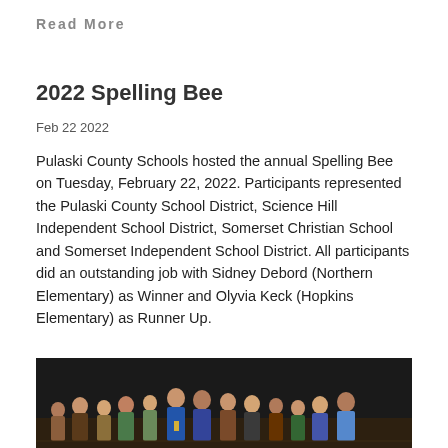Read More
2022 Spelling Bee
Feb 22 2022
Pulaski County Schools hosted the annual Spelling Bee on Tuesday, February 22, 2022.  Participants represented the Pulaski County School District, Science Hill Independent School District, Somerset Christian School and Somerset Independent School District.  All participants did an outstanding job with Sidney Debord (Northern Elementary) as Winner and Olyvia Keck (Hopkins Elementary) as Runner Up.
[Figure (photo): Group photo of students who participated in the 2022 Spelling Bee, standing on a stage in front of a dark curtain backdrop]